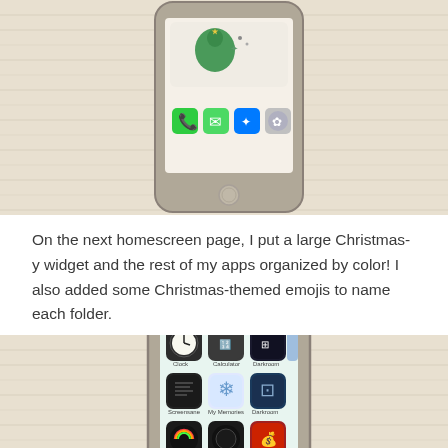[Figure (photo): iPhone lying face-up on a fluffy white/cream carpet, showing the homescreen with app icons (Phone, Messages, Safari, Settings) and a small Christmas-themed widget at the top.]
On the next homescreen page, I put a large Christmas-y widget and the rest of my apps organized by color! I also added some Christmas-themed emojis to name each folder.
[Figure (photo): iPhone lying face-up on a fluffy white/cream carpet, showing a homescreen with a Christmas-themed widget (green trees and Santa figures) at the top and app folders organized by color below (Clock, Calculator, Darkroom, Snowflake/My Memories, Darkroom, Fitonomy, WhatsApp, Store).]